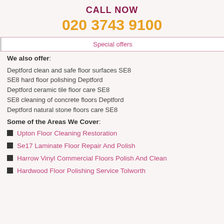CALL NOW
020 3743 9100
Special offers
We also offer:
Deptford clean and safe floor surfaces SE8
SE8 hard floor polishing Deptford
Deptford ceramic tile floor care SE8
SE8 cleaning of concrete floors Deptford
Deptford natural stone floors care SE8
Some of the Areas We Cover:
Upton Floor Cleaning Restoration
Se17 Laminate Floor Repair And Polish
Harrow Vinyl Commercial Floors Polish And Clean
Hardwood Floor Polishing Service Tolworth